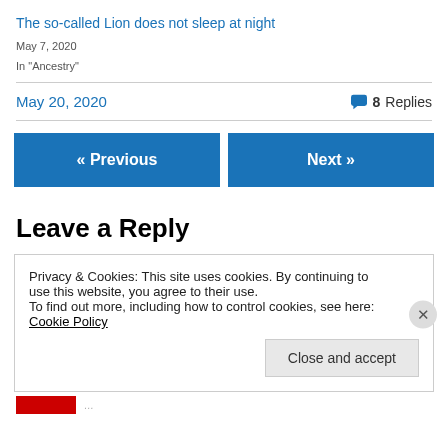The so-called Lion does not sleep at night
May 7, 2020
In "Ancestry"
May 20, 2020   8 Replies
« Previous
Next »
Leave a Reply
Privacy & Cookies: This site uses cookies. By continuing to use this website, you agree to their use. To find out more, including how to control cookies, see here: Cookie Policy
Close and accept